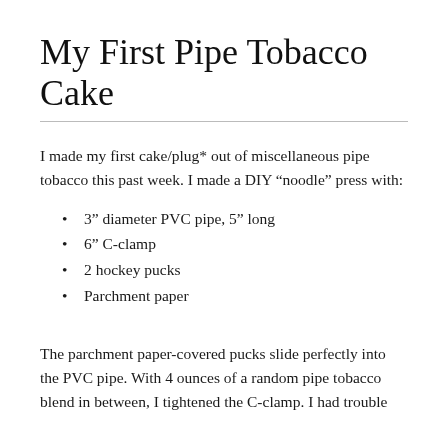My First Pipe Tobacco Cake
I made my first cake/plug* out of miscellaneous pipe tobacco this past week. I made a DIY “noodle” press with:
3” diameter PVC pipe, 5” long
6” C-clamp
2 hockey pucks
Parchment paper
The parchment paper-covered pucks slide perfectly into the PVC pipe. With 4 ounces of a random pipe tobacco blend in between, I tightened the C-clamp. I had trouble